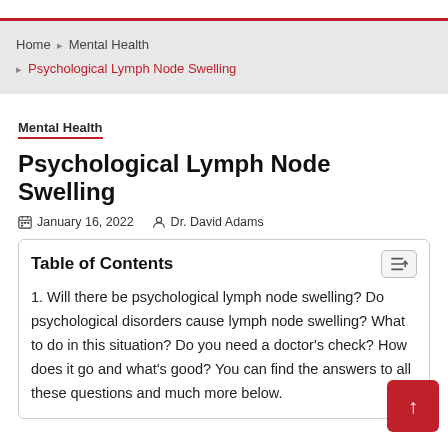Home › Mental Health › Psychological Lymph Node Swelling
Mental Health
Psychological Lymph Node Swelling
January 16, 2022  Dr. David Adams
Table of Contents
1. Will there be psychological lymph node swelling? Do psychological disorders cause lymph node swelling? What to do in this situation? Do you need a doctor's check? How does it go and what's good? You can find the answers to all these questions and much more below.